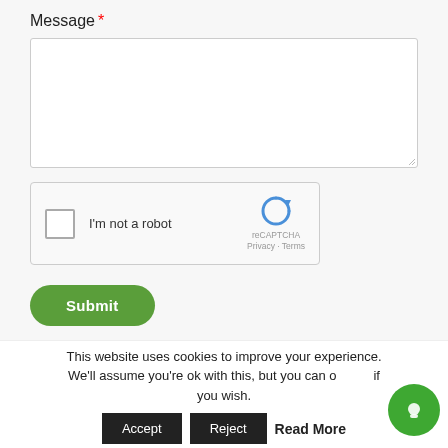Message *
[Figure (screenshot): Empty message textarea input field with resize handle in bottom-right corner]
[Figure (screenshot): reCAPTCHA widget with checkbox labeled 'I'm not a robot' and reCAPTCHA logo with Privacy and Terms links]
[Figure (screenshot): Green rounded Submit button]
This website uses cookies to improve your experience. We'll assume you're ok with this, but you can opt-out if you wish.
[Figure (screenshot): Accept button, Reject button, Read More link, and green chat bubble icon]